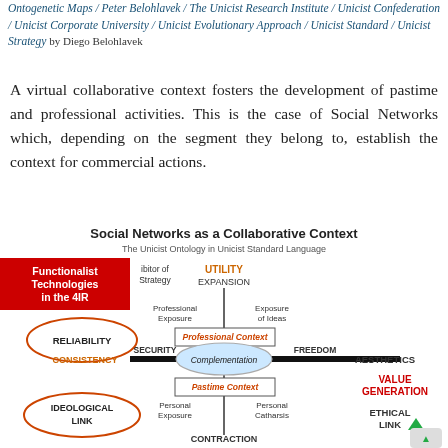Ontogenetic Maps / Peter Belohlavek / The Unicist Research Institute / Unicist Confederation / Unicist Corporate University / Unicist Evolutionary Approach / Unicist Standard / Unicist Strategy by Diego Belohlavek
A virtual collaborative context fosters the development of pastime and professional activities. This is the case of Social Networks which, depending on the segment they belong to, establish the context for commercial actions.
[Figure (infographic): Diagram titled 'Social Networks as a Collaborative Context' showing the Unicist Ontology in Unicist Standard Language. It depicts a hierarchical framework with UTILITY/EXPANSION at top, CONTRACTION at bottom, SECURITY and FREEDOM on horizontal axis with a Complementation ellipse in center, Professional Context box above center, Pastime Context box below center, RELIABILITY ellipse on left, IDEOLOGICAL LINK ellipse on lower left, AESTHETICS on right, VALUE GENERATION on lower right, ETHICAL LINK on far lower right, CONSISTENCY on left of horizontal axis. A red box labeled 'Functionalist Technologies in the 4IR' overlays the upper left. Subtitle: The Unicist Ontology in Unicist Standard Language.]